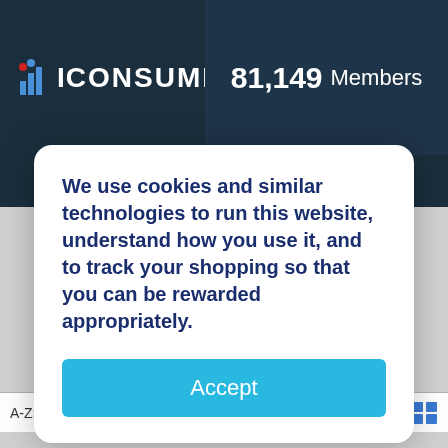[Figure (screenshot): iConsumer website logo with bar chart icon and 'CONSUMER.' text in white on dark navy background]
81,149 Members
Top Deals    Owner/Member Log In
We use cookies and similar technologies to run this website, understand how you use it, and to track your shopping so that you can be rewarded appropriately.
Accept
Shoes
A-Z: I